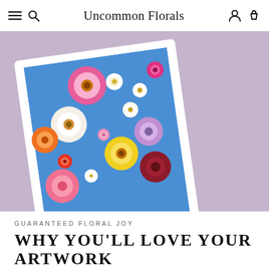Uncommon Florals
[Figure (photo): A colorful floral art print displayed at an angle on a lavender/mauve background. The print shows a dense, vibrant arrangement of various flowers including gerbera daisies, zinnias, and other blooms in pink, white, yellow, purple, red, and orange colors on a blue background. The print has a white border/mat.]
GUARANTEED FLORAL JOY
WHY YOU'LL LOVE YOUR ARTWORK